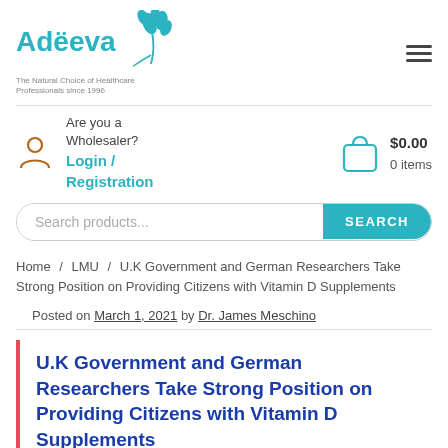[Figure (logo): Adeeva logo with teal plant/leaf graphic and tagline 'The Natural Choice of Healthcare Professionals since 1996']
Are you a Wholesaler? Login / Registration
$0.00
0 items
Search products...
Home / LMU / U.K Government and German Researchers Take Strong Position on Providing Citizens with Vitamin D Supplements
Posted on March 1, 2021 by Dr. James Meschino
U.K Government and German Researchers Take Strong Position on Providing Citizens with Vitamin D Supplements